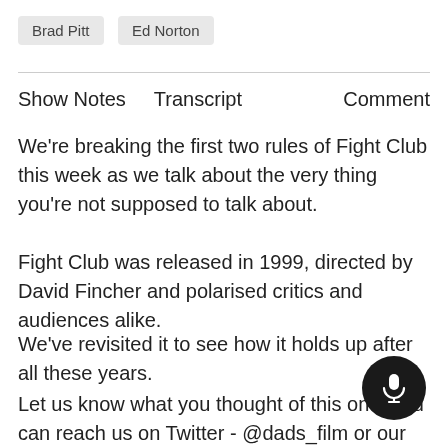Brad Pitt
Ed Norton
Show Notes   Transcript   Comment
We're breaking the first two rules of Fight Club this week as we talk about the very thing you're not supposed to talk about.
Fight Club was released in 1999, directed by David Fincher and polarised critics and audiences alike.
We've revisited it to see how it holds up after all these years.
Let us know what you thought of this one, you can reach us on Twitter - @dads_film or our website - baddadsfilm.com